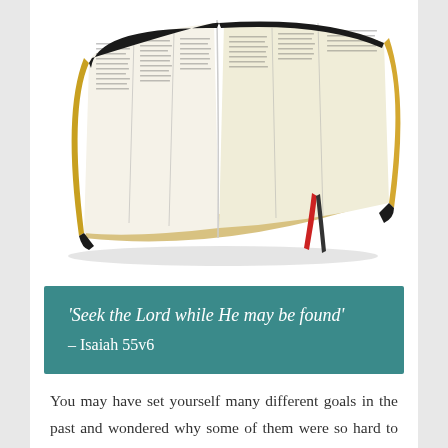[Figure (photo): An open Bible with gold-edged pages, black cover, and red ribbon bookmark, photographed from above at an angle on a white background.]
'Seek the Lord while He may be found' – Isaiah 55v6
You may have set yourself many different goals in the past and wondered why some of them were so hard to keep... the trick is to set out some